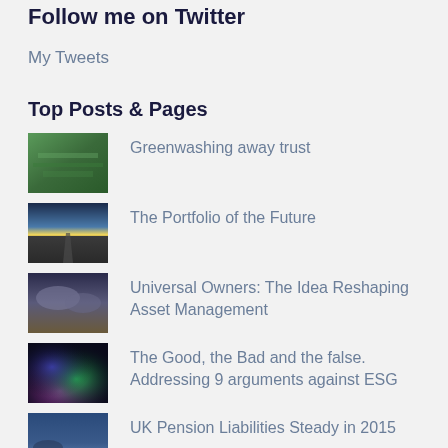Follow me on Twitter
My Tweets
Top Posts & Pages
Greenwashing away trust
The Portfolio of the Future
Universal Owners: The Idea Reshaping Asset Management
The Good, the Bad and the false. Addressing 9 arguments against ESG
UK Pension Liabilities Steady in 2015